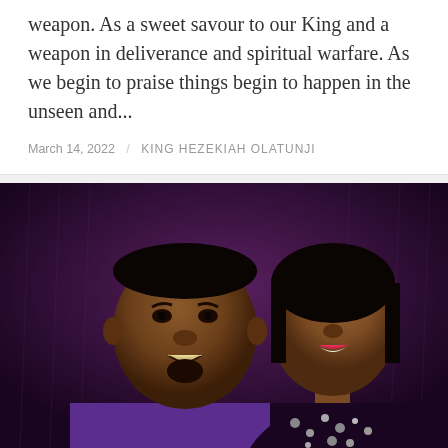weapon. As a sweet savour to our King and a weapon in deliverance and spiritual warfare.  As we begin to praise things begin to happen in the unseen and...
March 14, 2022  /  KING HEZEKIAH OLATUNJI
[Figure (photo): Portrait photo of a man and woman. The man is in the foreground wearing a purple outfit, with a goatee beard. The woman is behind him to the right, smiling, wearing a dark bedazzled top. Background is deep purple/maroon.]